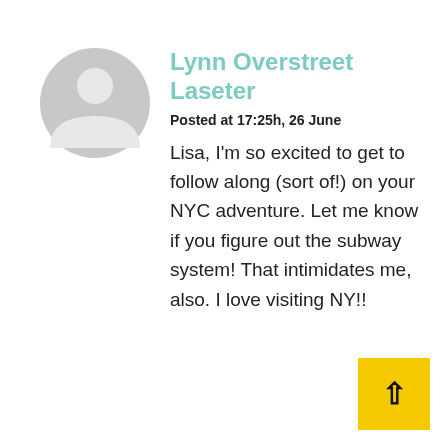[Figure (illustration): Gray circular avatar/profile placeholder icon showing a silhouette of a person's head and shoulders]
Lynn Overstreet Laseter
Posted at 17:25h, 26 June
Lisa, I'm so excited to get to follow along (sort of!) on your NYC adventure. Let me know if you figure out the subway system! That intimidates me, also. I love visiting NY!!